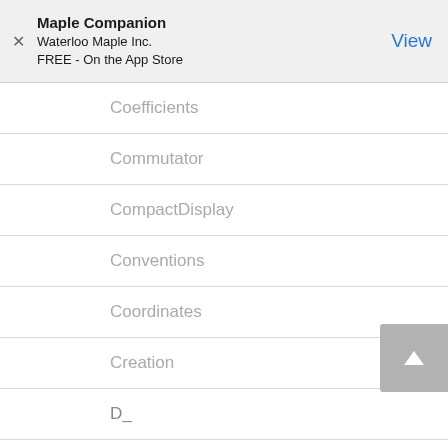Maple Companion
Waterloo Maple Inc.
FREE - On the App Store
Coefficients
Commutator
CompactDisplay
Conventions
Coordinates
Creation
D_
d_
Dagger